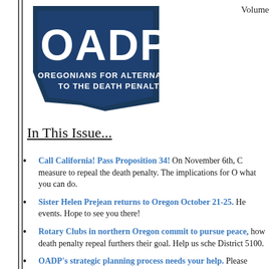[Figure (logo): OADP logo — Oregonians for Alternatives to the Death Penalty, dark blue background with state outline and large OADP text]
Volume
In This Issue...
Call California!  Pass Proposition 34!  On November 6th, C... measure to repeal the death penalty.  The implications for O... what you can do.
Sister Helen Prejean returns to Oregon October 21-25.  He... events.  Hope to see you there!
Rotary Clubs in northern Oregon commit to pursue peace, ... how death penalty repeal furthers their goal.  Help us sche... District 5100.
OADP's strategic planning process needs your help.  Please...
Innocence and Waste: News about these issues from aroun... new death row exonerations.